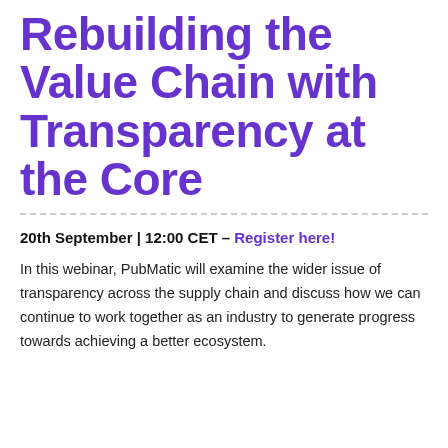Rebuilding the Value Chain with Transparency at the Core
20th September | 12:00 CET – Register here!
In this webinar, PubMatic will examine the wider issue of transparency across the supply chain and discuss how we can continue to work together as an industry to generate progress towards achieving a better ecosystem.